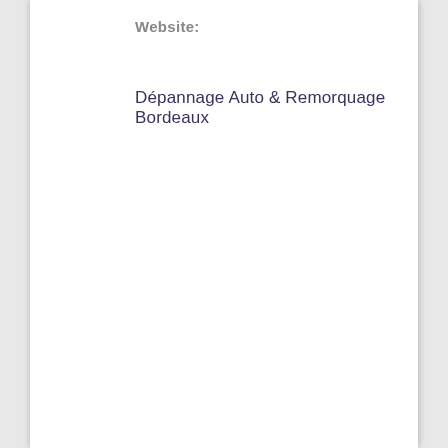Website:
Dépannage Auto & Remorquage Bordeaux